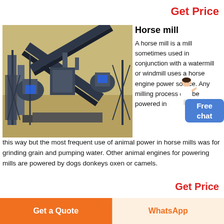Get Price
[Figure (photo): Aerial view of an industrial mining or crushing plant with conveyors, crushers, and equipment on sandy terrain]
Horse mill
A horse mill is a mill sometimes used in conjunction with a watermill or windmill uses a horse engine power source. Any milling process can be powered in this way but the most frequent use of animal power in horse mills was for grinding grain and pumping water. Other animal engines for powering mills are powered by dogs donkeys oxen or camels.
Get Price
Get a Quote
WhatsApp